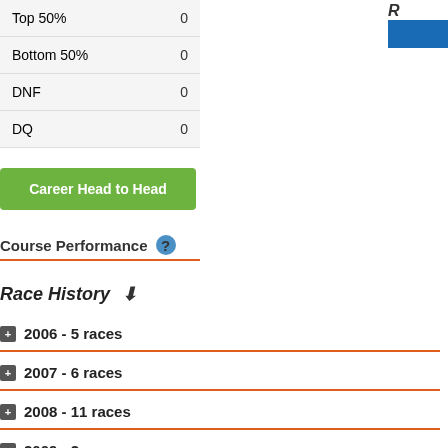|  |  |
| --- | --- |
| Top 50% | 0 |
| Bottom 50% | 0 |
| DNF | 0 |
| DQ | 0 |
Career Head to Head
Course Performance
Race History
2006 - 5 races
2007 - 6 races
2008 - 11 races
2009 - 2 races
2010 - 11